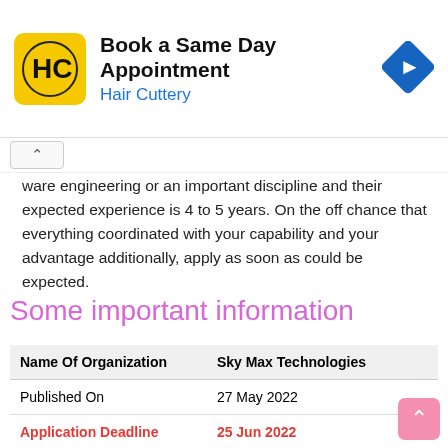[Figure (logo): Hair Cuttery advertisement banner with yellow logo showing HC initials, title 'Book a Same Day Appointment', subtitle 'Hair Cuttery', and a blue diamond navigation icon]
ware engineering or an important discipline and their expected experience is 4 to 5 years. On the off chance that everything coordinated with your capability and your advantage additionally, apply as soon as could be expected.
Some important information
| Name Of Organization | Sky Max Technologies |
| --- | --- |
| Published On | 27 May 2022 |
| Application Deadline | 25 Jun 2022 |
| Official website | https://skymax.kz/en/ |